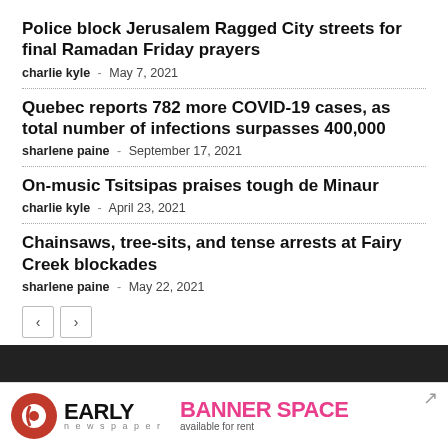Police block Jerusalem Ragged City streets for final Ramadan Friday prayers
charlie kyle  -  May 7, 2021
Quebec reports 782 more COVID-19 cases, as total number of infections surpasses 400,000
sharlene paine  -  September 17, 2021
On-music Tsitsipas praises tough de Minaur
charlie kyle  -  April 23, 2021
Chainsaws, tree-sits, and tense arrests at Fairy Creek blockades
sharlene paine  -  May 22, 2021
[Figure (logo): Early Newspaper logo with navigation pagination buttons and banner space advertisement at the bottom]